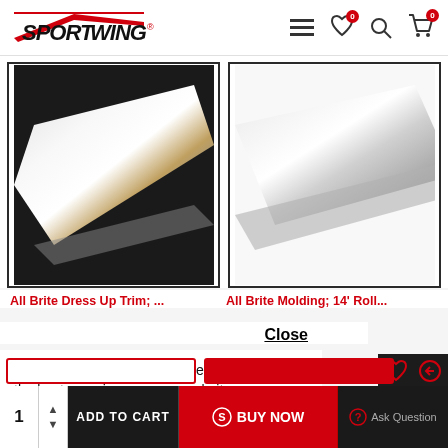SPORTWING
[Figure (photo): Chrome trim molding piece on black background]
[Figure (photo): Chrome flat molding piece on white background]
All Brite Dress Up Trim; ...
All Brite Molding; 14' Roll...
Close
This website uses cookies to ensure you get the best experience on our website.
Privacy Policy
ADD TO CART
BUY NOW
Ask Question